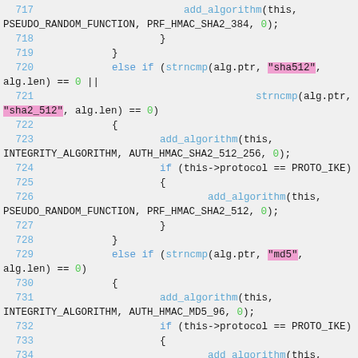[Figure (screenshot): Source code screenshot showing C/C++ code lines 717-734 with syntax highlighting. Code involves add_algorithm calls with PSEUDO_RANDOM_FUNCTION, INTEGRITY_ALGORITHM constants and strncmp comparisons for sha512, sha2_512, md5 algorithm strings.]